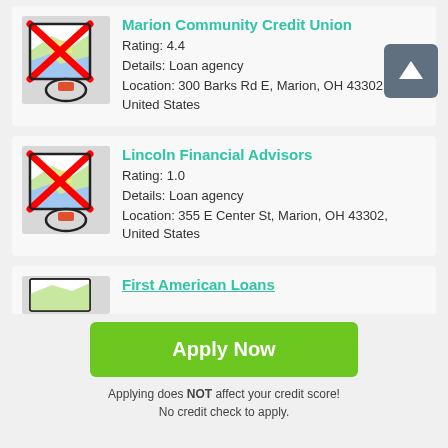[Figure (screenshot): Map pin icon with red X overlay and circular marker, representing Marion Community Credit Union location thumbnail]
Marion Community Credit Union
Rating: 4.4
Details: Loan agency
Location: 300 Barks Rd E, Marion, OH 43302, United States
[Figure (screenshot): Map pin icon with red X overlay and circular marker, representing Lincoln Financial Advisors location thumbnail]
Lincoln Financial Advisors
Rating: 1.0
Details: Loan agency
Location: 355 E Center St, Marion, OH 43302, United States
[Figure (screenshot): Partial map pin icon representing First American Loans location thumbnail]
First American Loans
Apply Now
Applying does NOT affect your credit score!
No credit check to apply.